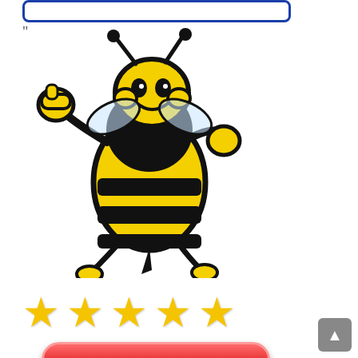[Figure (illustration): A rounded rectangle input box or frame with blue border at the top of a mobile UI screen]
[Figure (logo): Cartoon mascot bumble bee in yellow and black, posed with fists up in a fighting stance, with stinger pointing downward]
[Figure (other): Five gold star rating icons displayed in a horizontal row]
[Figure (other): Red glossy rounded button at the bottom of the screen]
[Figure (other): Grey back-to-top navigation button in bottom right corner with upward arrow]